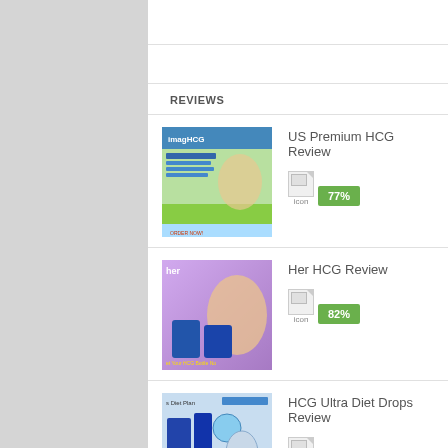REVIEWS
US Premium HCG Review
77%
Her HCG Review
82%
HCG Ultra Diet Drops Review
82%
HCG1234 Review
83%